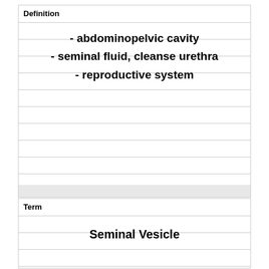Definition
- abdominopelvic cavity
- seminal fluid, cleanse urethra
- reproductive system
Term
Seminal Vesicle